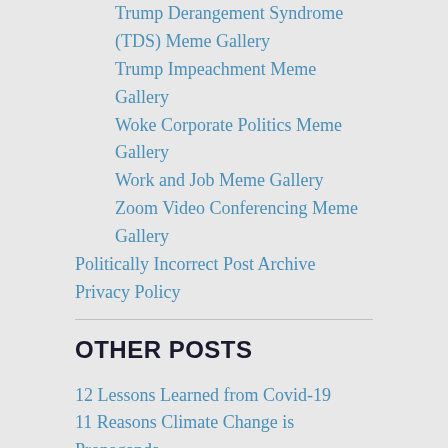Trump Derangement Syndrome (TDS) Meme Gallery
Trump Impeachment Meme Gallery
Woke Corporate Politics Meme Gallery
Work and Job Meme Gallery
Zoom Video Conferencing Meme Gallery
Politically Incorrect Post Archive
Privacy Policy
OTHER POSTS
12 Lessons Learned from Covid-19
11 Reasons Climate Change is Propaganda
20 Ways to Destroy a Person
Pros and Cons of Mexican Border Wall
11 Media Manipulation Techniques
10 Ronald Reagan Trivia Questions
15 Things You Can't Say in America
20 Things You Must Believe to be Liberal
15 President Quotes Trivia Questions
80s Movie Quotes Trivia Questions